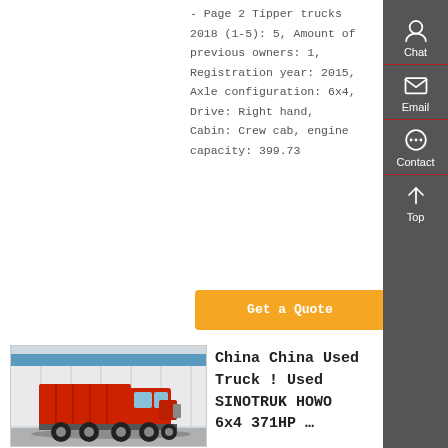- Page 2 Tipper trucks 2018 (1-5): 5, Amount of previous owners: 1, Registration year: 2015, Axle configuration: 6x4, Drive: Right hand, Cabin: Crew cab, engine capacity: 399.73
Get a Quote
[Figure (photo): Red SINOTRUK HOWO dump/tipper truck parked in front of a warehouse building]
China China Used Truck ! Used SINOTRUK HOWO 6x4 371HP …